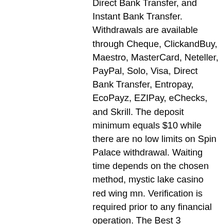Direct Bank Transfer, and Instant Bank Transfer. Withdrawals are available through Cheque, ClickandBuy, Maestro, MasterCard, Neteller, PayPal, Solo, Visa, Direct Bank Transfer, Entropay, EcoPayz, EZIPay, eChecks, and Skrill. The deposit minimum equals $10 while there are no low limits on Spin Palace withdrawal. Waiting time depends on the chosen method, mystic lake casino red wing mn. Verification is required prior to any financial operation. The Best 3 Malaysian Roulette Demos to Try, mystic lake casino red wing mn. PLAY AT MANDARIN PALACE Mobile CASINO Welcome, to an online gaming experience that is fit for kings and queens, coushatta casino kinder la concerts. All free spins you win in-game are automatically applied as you play. No activation or online connection required to play. Stellar support 24/7 and full refunds up to 30 days. Cleopatra plus free online pokies. Free casino slots cleopatra